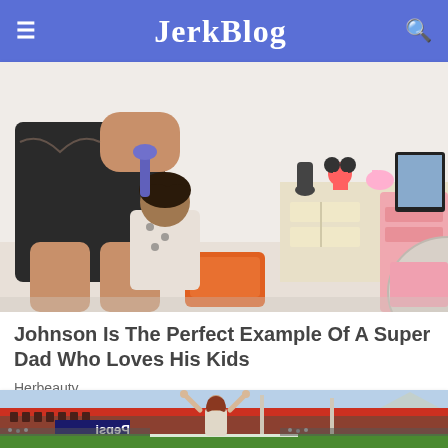JerkBlog
[Figure (photo): A muscular man in a black t-shirt doing a child's hair in a colorful playroom with toys and pink furniture in background]
Johnson Is The Perfect Example Of A Super Dad Who Loves His Kids
Herbeauty
[Figure (photo): A woman with arms raised triumphantly on a sports field in front of a stadium with Pepsi signage and crowd in the background]